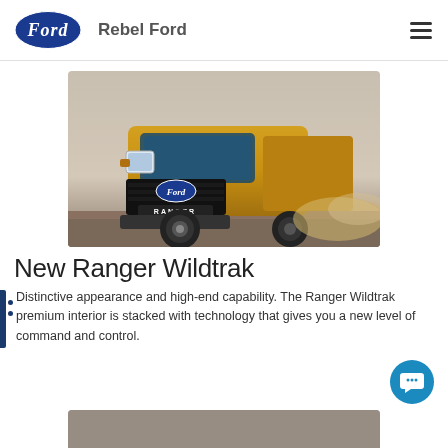Rebel Ford
[Figure (photo): Gold/yellow Ford Ranger Wildtrak truck driving on dusty road, front 3/4 view with dust cloud, Ford oval badge visible on grille, RANGER lettering on front bumper]
New Ranger Wildtrak
Distinctive appearance and high-end capability. The Ranger Wildtrak premium interior is stacked with technology that gives you a new level of command and control.
[Figure (photo): Partial view of a second image at the bottom of the page (partially cropped)]